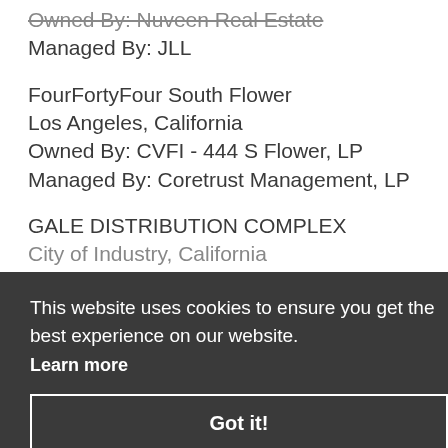Owned By: Nuveen Real Estate
Managed By: JLL
FourFortyFour South Flower
Los Angeles, California
Owned By: CVFI - 444 S Flower, LP
Managed By: Coretrust Management, LP
GALE DISTRIBUTION COMPLEX
City of Industry, California
This website uses cookies to ensure you get the best experience on our website.
Learn more
Got it!
Owned By: Prentiss, LLC